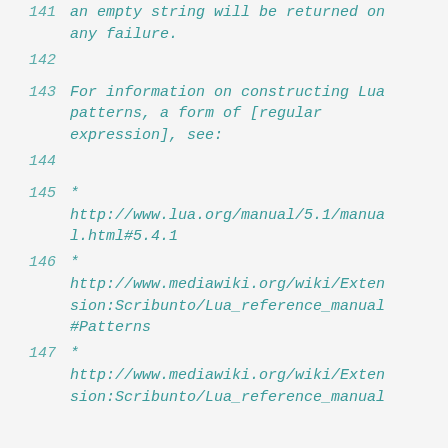141    an empty string will be returned on any failure.
142    (empty)
143    For information on constructing Lua patterns, a form of [regular expression], see:
144    (empty)
145    *  http://www.lua.org/manual/5.1/manual.html#5.4.1
146    *  http://www.mediawiki.org/wiki/Extension:Scribunto/Lua_reference_manual#Patterns
147    *  http://www.mediawiki.org/wiki/Extension:Scribunto/Lua_reference_manual